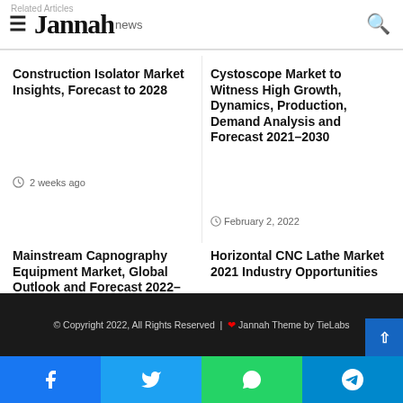Jannah news
Related Articles
Construction Isolator Market Insights, Forecast to 2028
2 weeks ago
Cystoscope Market to Witness High Growth, Dynamics, Production, Demand Analysis and Forecast 2021-2030
February 2, 2022
Mainstream Capnography Equipment Market, Global Outlook and Forecast 2022-2028
May 27, 2022
Horizontal CNC Lathe Market 2021 Industry Opportunities
February 6, 2022
© Copyright 2022, All Rights Reserved | ♥ Jannah Theme by TieLabs